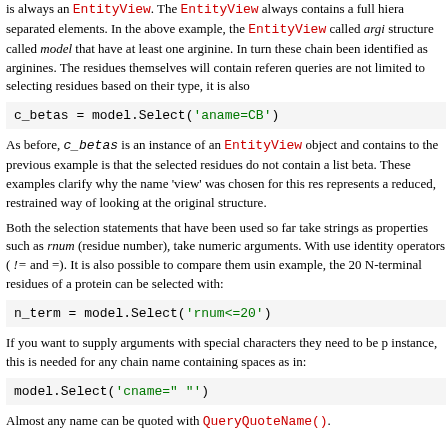is always an EntityView. The EntityView always contains a full hiera separated elements. In the above example, the EntityView called argi structure called model that have at least one arginine. In turn these chain been identified as arginines. The residues themselves will contain referen queries are not limited to selecting residues based on their type, it is also
c_betas = model.Select('aname=CB')
As before, c_betas is an instance of an EntityView object and contains to the previous example is that the selected residues do not contain a list beta. These examples clarify why the name 'view' was chosen for this res represents a reduced, restrained way of looking at the original structure.
Both the selection statements that have been used so far take strings as properties such as rnum (residue number), take numeric arguments. With use identity operators ( != and =). It is also possible to compare them usin example, the 20 N-terminal residues of a protein can be selected with:
n_term = model.Select('rnum<=20')
If you want to supply arguments with special characters they need to be p instance, this is needed for any chain name containing spaces as in:
model.Select('cname=" "')
Almost any name can be quoted with QueryQuoteName().